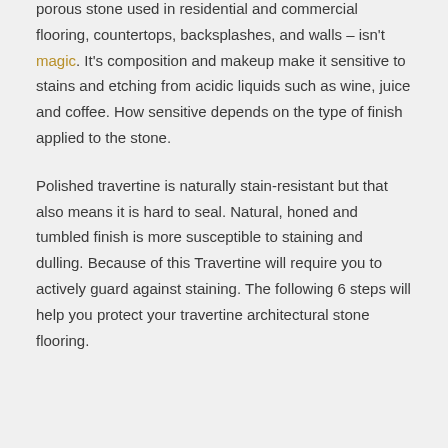porous stone used in residential and commercial flooring, countertops, backsplashes, and walls – isn't magic. It's composition and makeup make it sensitive to stains and etching from acidic liquids such as wine, juice and coffee. How sensitive depends on the type of finish applied to the stone.
Polished travertine is naturally stain-resistant but that also means it is hard to seal. Natural, honed and tumbled finish is more susceptible to staining and dulling. Because of this Travertine will require you to actively guard against staining. The following 6 steps will help you protect your travertine architectural stone flooring.